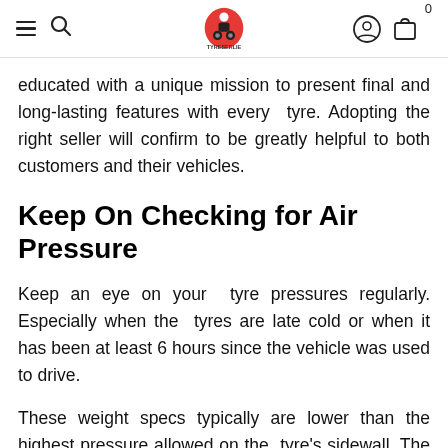TyreSerie website header with logo, hamburger menu, search, account and cart icons
educated with a unique mission to present final and long-lasting features with every tyre. Adopting the right seller will confirm to be greatly helpful to both customers and their vehicles.
Keep On Checking for Air Pressure
Keep an eye on your tyre pressures regularly. Especially when the tyres are late cold or when it has been at least 6 hours since the vehicle was used to drive.
These weight specs typically are lower than the highest pressure allowed on the tyre's sidewall. The larger the force, the higher the tyre's load-carrying ability, the more enduring the vehicle's